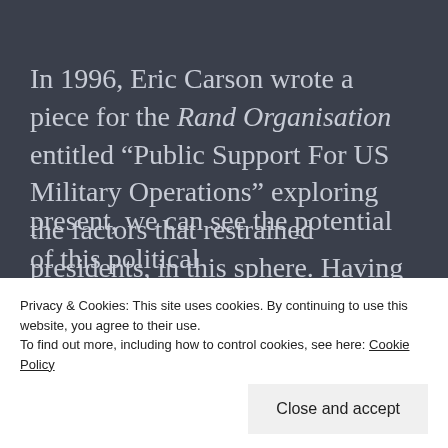In 1996, Eric Carson wrote a piece for the Rand Organisation entitled “Public Support For US Military Operations” exploring the factors that restrained presidents, in this sphere. Having come out of the Cold War just a few years ago, America had entered a “more confusing world” where the objective wasn’t always clear as had been with something like World War 2 (where
present, we can see the potential of this political
Privacy & Cookies: This site uses cookies. By continuing to use this website, you agree to their use.
To find out more, including how to control cookies, see here: Cookie Policy
Close and accept